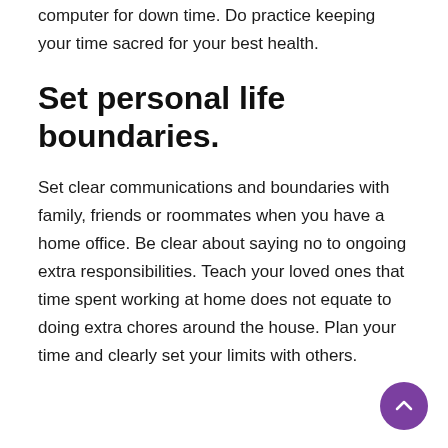computer for down time. Do practice keeping your time sacred for your best health.
Set personal life boundaries.
Set clear communications and boundaries with family, friends or roommates when you have a home office. Be clear about saying no to ongoing extra responsibilities. Teach your loved ones that time spent working at home does not equate to doing extra chores around the house. Plan your time and clearly set your limits with others.